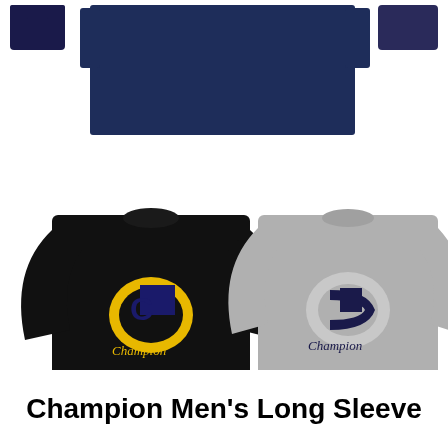[Figure (photo): Product images of Champion Men's Long Sleeve shirts in multiple colors (navy, black, grey, white) with Champion logo. Top row shows folded navy shirt and small thumbnails. Middle row shows two full shirts laid flat - black with yellow Champion logo and grey with navy Champion logo. Bottom row shows smaller thumbnail images of multiple colorways side by side.]
Champion Men's Long Sleeve